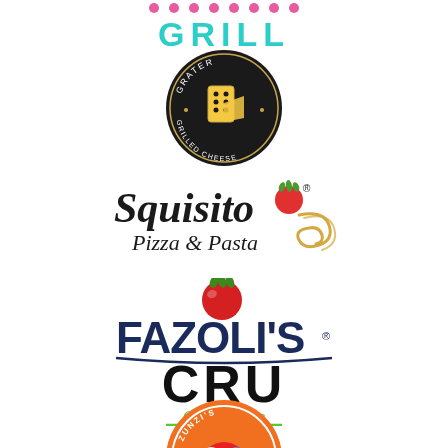[Figure (logo): Partial logo at top showing 'GRILL' in teal/cyan block letters with pink dots above]
[Figure (logo): Grater Grilled Cheese logo: circular dark badge with cheese grater illustration and text 'GRATER GRILLED CHEESE' around the border]
[Figure (logo): Squisito Pizza & Pasta logo: cursive script text with tomato and pasta illustration]
[Figure (logo): Fazoli's logo: bold dark text 'FAZOLI'S' with red tomato illustration above]
[Figure (logo): CRU Catch a Vibe logo: bold black 'CRU' text with green cursive 'Catch a Vibe' script below]
[Figure (logo): Zunzi's Takeout & Catering logo: circular orange badge with rainbow umbrella and text around border]